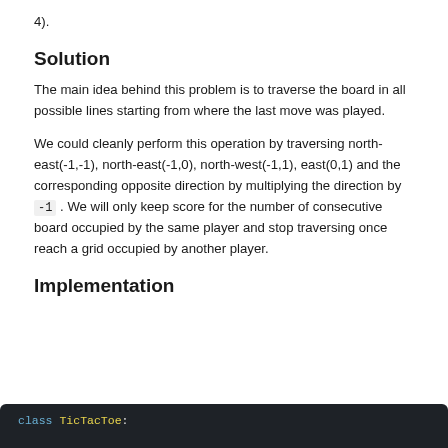4).
Solution
The main idea behind this problem is to traverse the board in all possible lines starting from where the last move was played.
We could cleanly perform this operation by traversing north-east(-1,-1), north-east(-1,0), north-west(-1,1), east(0,1) and the corresponding opposite direction by multiplying the direction by -1 . We will only keep score for the number of consecutive board occupied by the same player and stop traversing once reach a grid occupied by another player.
Implementation
[Figure (screenshot): Dark-themed code block at the bottom of the page showing the beginning of code implementation]